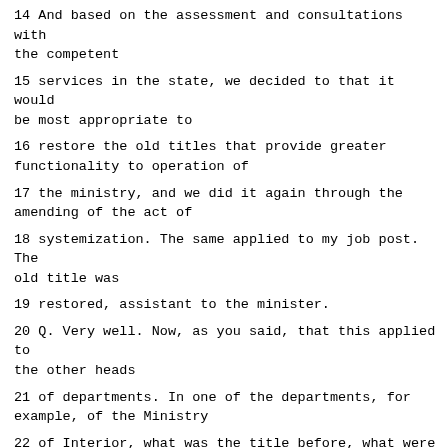14 And based on the assessment and consultations with the competent
15 services in the state, we decided to that it would be most appropriate to
16 restore the old titles that provide greater functionality to operation of
17 the ministry, and we did it again through the amending of the act of
18 systemization. The same applied to my job post. The old title was
19 restored, assistant to the minister.
20 Q. Very well. Now, as you said, that this applied to the other heads
21 of departments. In one of the departments, for example, of the Ministry
22 of Interior, what was the title before, what were the titles applied to
23 civil servants, and what is the law like today?
24 A. These posts used to have corresponding job titles – chief of
25 sector, chief of department of the interior. With